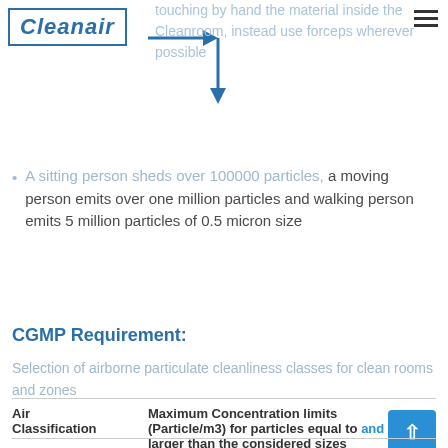Cleanair
touching by hand the material inside the Cleanroom, instead use forceps wherever possible
A sitting person sheds over 100000 particles, a moving person emits over one million particles and walking person emits 5 million particles of 0.5 micron size
CGMP Requirement:
Selection of airborne particulate cleanliness classes for clean rooms and zones
| Air Classification | Maximum Concentration limits (Particle/m3) for particles equal to and larger than the considered sizes |  |  |
| --- | --- | --- | --- |
|  | Static-(At rest) | Dynamic – (At Operation) |  |